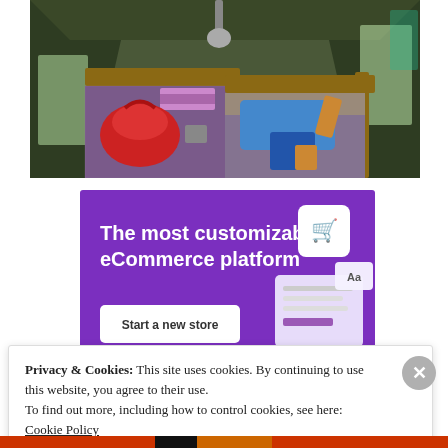[Figure (photo): Interior of a tent with two beds covered in patterned purple/blue blankets. A red backpack and other items sit on the left bed. A person wearing blue jeans lies face down on the right bed. Wooden headboards visible, green tent walls with windows letting in light.]
[Figure (screenshot): Purple advertisement banner for an eCommerce platform reading 'The most customizable eCommerce platform' with a 'Start a new store' button, shopping cart icon, and UI mockup elements.]
Privacy & Cookies: This site uses cookies. By continuing to use this website, you agree to their use.
To find out more, including how to control cookies, see here: Cookie Policy
Close and accept